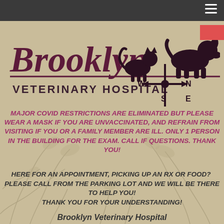[Figure (logo): Brooklyn Veterinary Hospital logo with italic 'Brooklyn' text in dark maroon/purple, 'VETERINARY HOSPITAL' in block capitals below, and silhouette of cat and dog on a weather vane with compass directions W, N, S, E]
MAJOR COVID RESTRICTIONS ARE ELIMINATED BUT PLEASE WEAR A MASK IF YOU ARE UNVACCINATED, AND REFRAIN FROM VISITING IF YOU OR A FAMILY MEMBER ARE ILL. ONLY 1 PERSON IN THE BUILDING FOR THE EXAM. CALL IF QUESTIONS. THANK YOU!
HERE FOR AN APPOINTMENT, PICKING UP AN RX OR FOOD?  PLEASE CALL FROM THE PARKING LOT AND WE WILL BE THERE TO HELP YOU!
THANK YOU FOR YOUR UNDERSTANDING!